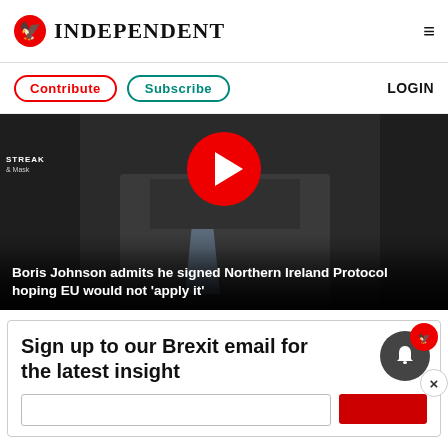INDEPENDENT
Contribute | Subscribe | LOGIN
[Figure (screenshot): Video thumbnail showing Boris Johnson in a dark suit with a play button overlay. Caption reads: Boris Johnson admits he signed Northern Ireland Protocol hoping EU would not 'apply it']
Boris Johnson admits he signed Northern Ireland Protocol hoping EU would not 'apply it'
Sign up to our Brexit email for the latest insight